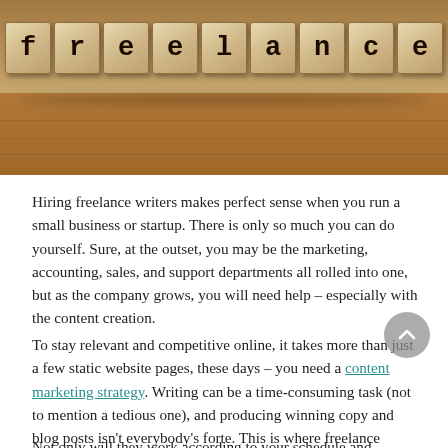[Figure (photo): Wooden letter blocks spelling out 'freelance' arranged in a row on a wooden surface]
Hiring freelance writers makes perfect sense when you run a small business or startup. There is only so much you can do yourself. Sure, at the outset, you may be the marketing, accounting, sales, and support departments all rolled into one, but as the company grows, you will need help – especially with the content creation.
To stay relevant and competitive online, it takes more than just a few static website pages, these days – you need a content marketing strategy. Writing can be a time-consuming task (not to mention a tedious one), and producing winning copy and blog posts isn't everybody's forte. This is where freelance writers come in handy.
Not only will they work according to your schedule and